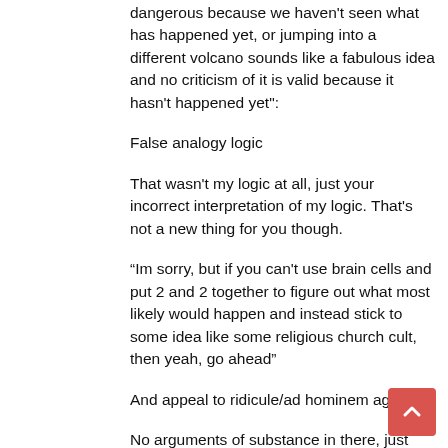dangerous because we haven't seen what has happened yet, or jumping into a different volcano sounds like a fabulous idea and no criticism of it is valid because it hasn't happened yet":
False analogy logic
That wasn't my logic at all, just your incorrect interpretation of my logic. That's not a new thing for you though.
“Im sorry, but if you can't use brain cells and put 2 and 2 together to figure out what most likely would happen and instead stick to some idea like some religious church cult, then yeah, go ahead”
And appeal to ridicule/ad hominem again.
No arguments of substance in there, just fallacies. I do find it heartening that both yourself and Todd have...